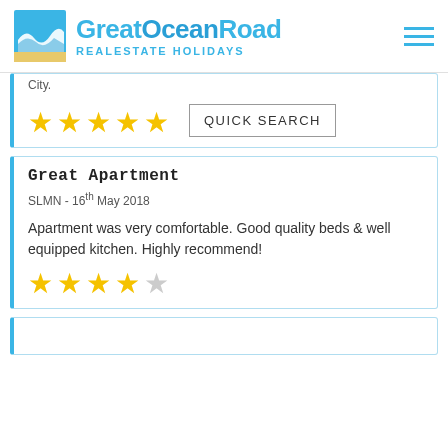[Figure (logo): Great Ocean Road Real Estate Holidays logo with wave icon and text]
City.
QUICK SEARCH
Great Apartment
SLMN - 16th May 2018
Apartment was very comfortable. Good quality beds & well equipped kitchen. Highly recommend!